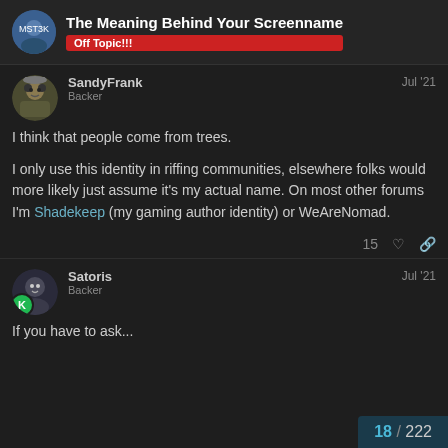The Meaning Behind Your Screenname — Off Topic!!!
SandyFrank
Backer
Jul '21
I think that people come from trees.

I only use this identity in riffing communities, elsewhere folks would more likely just assume it's my actual name. On most other forums I'm Shadekeep (my gaming author identity) or WeAreNomad.
15 ♡ 🔗
Satoris
Backer
Jul '21
If you have to ask...
18 / 222